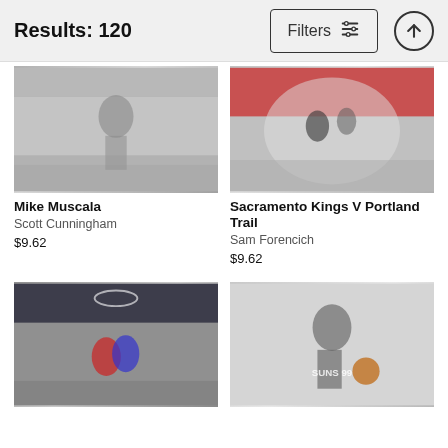Results: 120
Filters
[Figure (photo): Basketball player Mike Muscala in Atlanta Hawks All-Star uniform dribbling on court]
Mike Muscala
Scott Cunningham
$9.62
[Figure (photo): Aerial fisheye view of Sacramento Kings vs Portland Trail Blazers game, player dunking]
Sacramento Kings V Portland Trail
Sam Forencich
$9.62
[Figure (photo): Basketball game action shot, player going up for layup against defender]
[Figure (photo): Phoenix Suns player #99 in black and white uniform dribbling basketball]